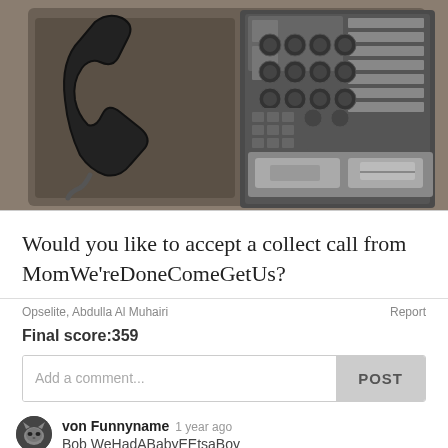[Figure (photo): A public payphone mounted on a wall, showing a black handset on the left and a metal panel with circular buttons/keypad and Arabic text labels on the right, along with coin slots at the bottom.]
Would you like to accept a collect call from MomWe'reDoneComeGetUs?
Opselite, Abdulla Al Muhairi
Report
Final score:359
Add a comment...
POST
von Funnyname  1 year ago
Bob WeHadABabyEEtsaBoy